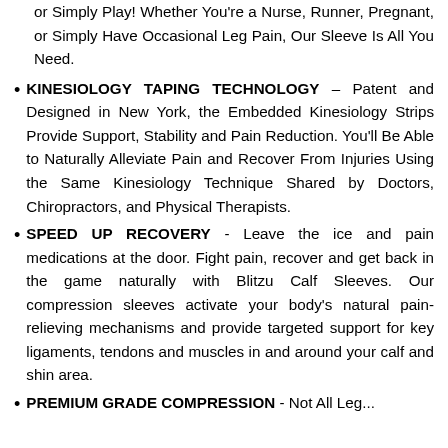or Simply Play! Whether You're a Nurse, Runner, Pregnant, or Simply Have Occasional Leg Pain, Our Sleeve Is All You Need.
KINESIOLOGY TAPING TECHNOLOGY – Patent and Designed in New York, the Embedded Kinesiology Strips Provide Support, Stability and Pain Reduction. You'll Be Able to Naturally Alleviate Pain and Recover From Injuries Using the Same Kinesiology Technique Shared by Doctors, Chiropractors, and Physical Therapists.
SPEED UP RECOVERY - Leave the ice and pain medications at the door. Fight pain, recover and get back in the game naturally with Blitzu Calf Sleeves. Our compression sleeves activate your body's natural pain-relieving mechanisms and provide targeted support for key ligaments, tendons and muscles in and around your calf and shin area.
PREMIUM GRADE COMPRESSION - Not All Leg...